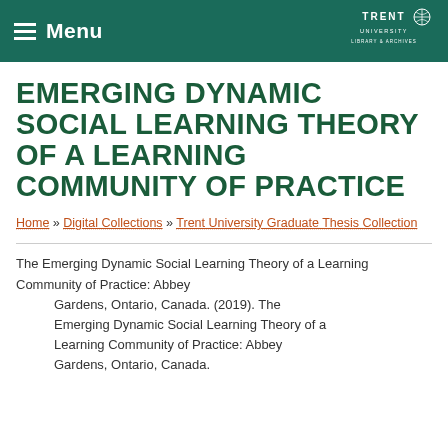Menu | Trent University Library & Archives
EMERGING DYNAMIC SOCIAL LEARNING THEORY OF A LEARNING COMMUNITY OF PRACTICE
Home » Digital Collections » Trent University Graduate Thesis Collection
The Emerging Dynamic Social Learning Theory of a Learning Community of Practice: Abbey Gardens, Ontario, Canada. (2019). The Emerging Dynamic Social Learning Theory of a Learning Community of Practice: Abbey Gardens, Ontario, Canada.